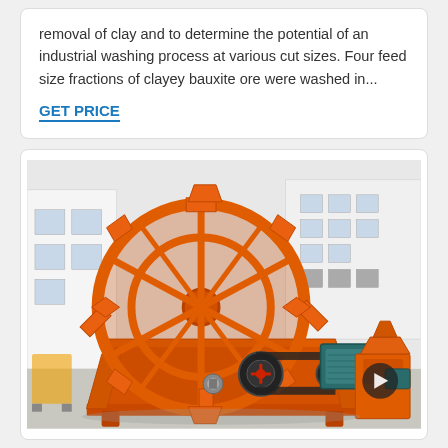removal of clay and to determine the potential of an industrial washing process at various cut sizes. Four feed size fractions of clayey bauxite ore were washed in...
GET PRICE
[Figure (photo): Large orange industrial sand/ore washing machine with a big paddle wheel/bucket wheel rotor, orange metal trough/basin, black belt drive mechanism, and green electric motor. Additional smaller orange and green machinery visible in the background. Industrial building and yard setting.]